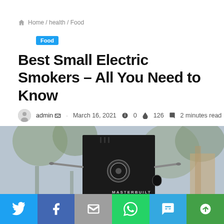🏠 Home / health / Food
Food
Best Small Electric Smokers – All You Need to Know
admin · March 16, 2021 💬 0 🔥 126 🔖 2 minutes read
[Figure (photo): Photo of a Masterbuilt electric smoker outdoors with blurred tree background]
[Figure (infographic): Social sharing bar with Twitter, Facebook, Email, WhatsApp, SMS, and Share buttons]